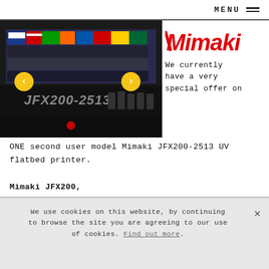MENU
[Figure (photo): Mimaki JFX200-2513 UV flatbed printer in use, showing colorful prints on the print bed, with the machine label JFX200-2513 visible on the front panel.]
[Figure (logo): Mimaki logo in red with stylized italic lettering]
We currently have a very special offer on ONE second user model Mimaki JFX200-2513 UV flatbed printer.
Mimaki JFX200,
1 YEAR FULL WARRANTY!
Remaining inks LUS150 inks with varnish and white,
We use cookies on this website, by continuing to browse the site you are agreeing to our use of cookies. Find out more.